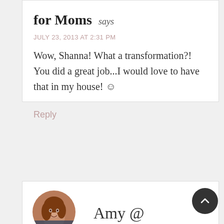for Moms says
JULY 23, 2013 AT 2:31 PM
Wow, Shanna! What a transformation?! You did a great job...I would love to have that in my house! ☺
Reply
Amy @